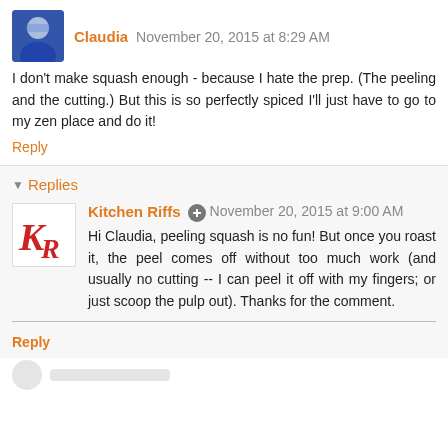Claudia  November 20, 2015 at 8:29 AM
I don't make squash enough - because I hate the prep. (The peeling and the cutting.) But this is so perfectly spiced I'll just have to go to my zen place and do it!
Reply
Replies
Kitchen Riffs  November 20, 2015 at 9:00 AM
Hi Claudia, peeling squash is no fun! But once you roast it, the peel comes off without too much work (and usually no cutting -- I can peel it off with my fingers; or just scoop the pulp out). Thanks for the comment.
Reply